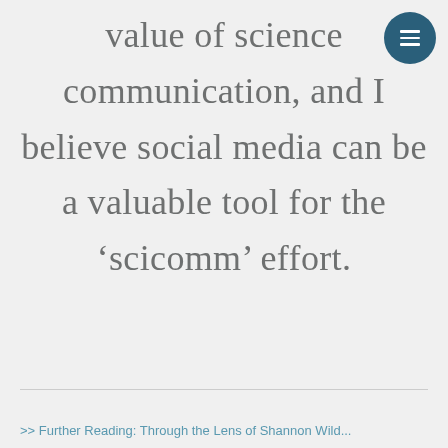value of science communication, and I believe social media can be a valuable tool for the ‘scicomm’ effort.
[Figure (other): Circular dark teal menu button with three horizontal white lines (hamburger icon) in upper right corner]
>> Further Reading: Through the Lens of Shannon Wild...